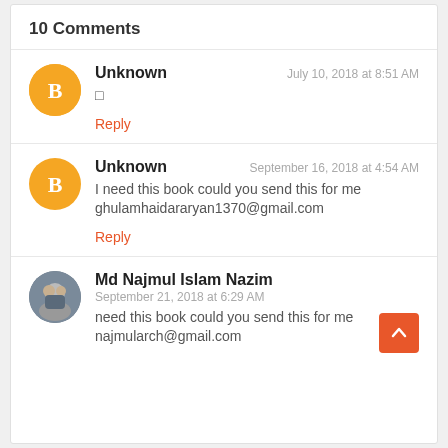10 Comments
Unknown
July 10, 2018 at 8:51 AM
□
Reply
Unknown
September 16, 2018 at 4:54 AM
I need this book could you send this for me ghulamhaidararyan1370@gmail.com
Reply
Md Najmul Islam Nazim
September 21, 2018 at 6:29 AM
need this book could you send this for me najmularch@gmail.com